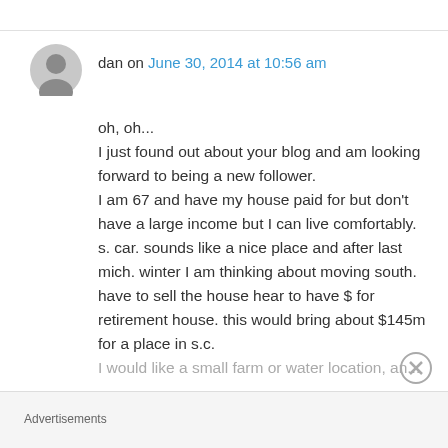dan on June 30, 2014 at 10:56 am
oh, oh... I just found out about your blog and am looking forward to being a new follower. I am 67 and have my house paid for but don't have a large income but I can live comfortably. s. car. sounds like a nice place and after last mich. winter I am thinking about moving south. have to sell the house hear to have $ for retirement house. this would bring about $145m for a place in s.c.
Advertisements